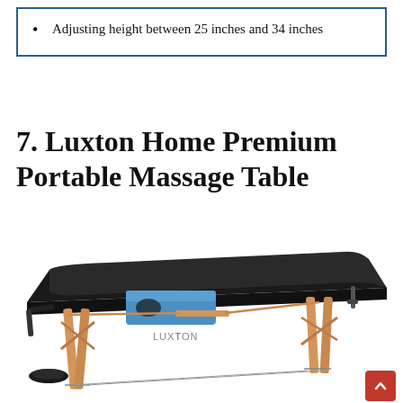Adjusting height between 25 inches and 34 inches
7. Luxton Home Premium Portable Massage Table
[Figure (photo): Photo of a black portable massage table with wooden legs and a blue headrest cushion, branded LUXTON]